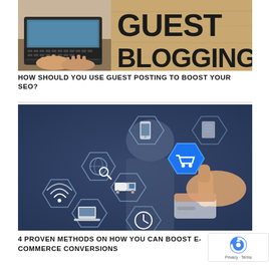[Figure (photo): Person typing on laptop beside a wooden sign reading GUEST BLOGGING in large bold letters]
HOW SHOULD YOU USE GUEST POSTING TO BOOST YOUR SEO?
[Figure (photo): E-commerce concept image showing glowing hexagonal icons including shopping cart, delivery truck, laptop, WiFi, credit card, and a hand touching a blue illuminated shopping cart hexagon]
4 PROVEN METHODS ON HOW YOU CAN BOOST E-COMMERCE CONVERSIONS